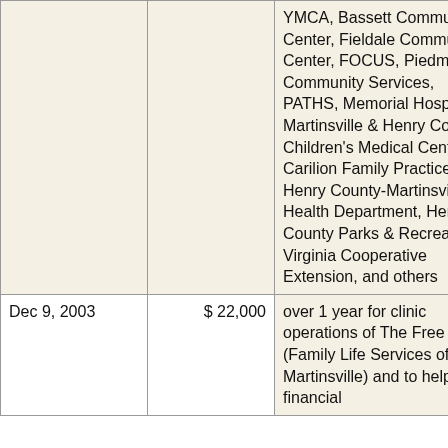| Date | Amount | Description |
| --- | --- | --- |
|  |  | YMCA, Bassett Community Center, Fieldale Community Center, FOCUS, Piedmont Community Services, PATHS, Memorial Hospital of Martinsville & Henry County, Children's Medical Center, Carilion Family Practice, Henry County-Martinsville Health Department, Henry County Parks & Recreation, Virginia Cooperative Extension, and others |
| Dec 9, 2003 | $ 22,000 | over 1 year for clinic operations of The Free Clinic (Family Life Services of Martinsville) and to help with financial |